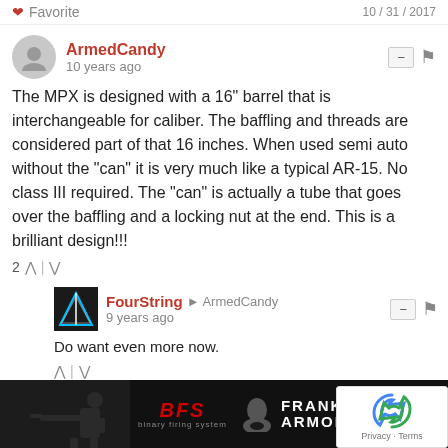Favorite | 10 / 31 / 2017
ArmedCandy
10 years ago
The MPX is designed with a 16" barrel that is interchangeable for caliber. The baffling and threads are considered part of that 16 inches. When used semi auto without the "can" it is very much like a typical AR-15. No class III required. The "can" is actually a tube that goes over the baffling and a locking nut at the end. This is a brilliant design!!!
2
FourString → ArmedCandy
9 years ago
Do want even more now.
Guest → ArmedCandy
9 years ago
Still need that stamp to attach the can and nut on tha
"Brak
Bada
[Figure (advertisement): Franklin Armory advertisement banner with shooter image and BFS logo]